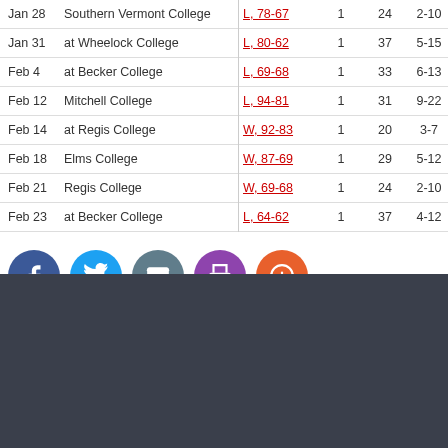| Date | Opponent | Result | GS | Min | FGM-A | FG% | 3PM-A | 3P% |
| --- | --- | --- | --- | --- | --- | --- | --- | --- |
| Jan 28 | Southern Vermont College | L, 78-67 | 1 | 24 | 2-10 | 20.0 | 1-5 | 20 |
| Jan 31 | at Wheelock College | L, 80-62 | 1 | 37 | 5-15 | 33.3 | 3-9 | 33 |
| Feb 4 | at Becker College | L, 69-68 | 1 | 33 | 6-13 | 46.2 | 2-7 | 28 |
| Feb 12 | Mitchell College | L, 94-81 | 1 | 31 | 9-22 | 40.9 | 1-5 | 20 |
| Feb 14 | at Regis College | W, 92-83 | 1 | 20 | 3-7 | 42.9 | 2-4 | 50 |
| Feb 18 | Elms College | W, 87-69 | 1 | 29 | 5-12 | 41.7 | 1-6 | 16 |
| Feb 21 | Regis College | W, 69-68 | 1 | 24 | 2-10 | 20.0 | 1-6 | 16 |
| Feb 23 | at Becker College | L, 64-62 | 1 | 37 | 4-12 | 33.3 | 1-6 | 16 |
[Figure (infographic): Social sharing buttons: Facebook (blue circle), Twitter (light blue circle), Email (grey-teal circle), Print (purple circle), Add/Plus (orange circle)]